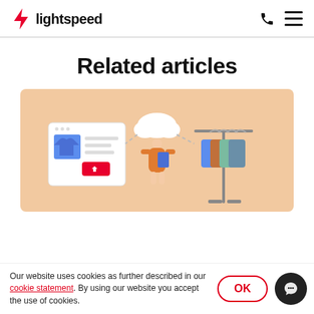lightspeed
Related articles
[Figure (illustration): Illustration on a peach/tan background showing a person in an orange dress holding a tablet, with a cloud icon above connected by dashed lines to a product listing UI on the left and a clothing rack on the right.]
Our website uses cookies as further described in our cookie statement. By using our website you accept the use of cookies.